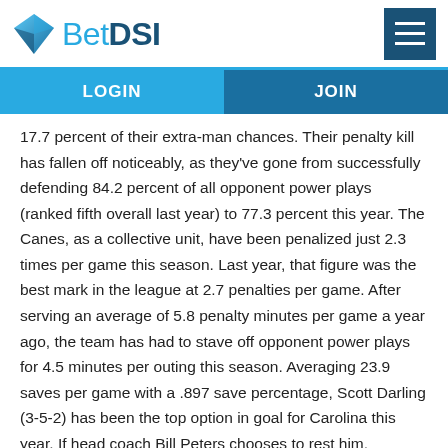BetDSI
LOGIN
JOIN
17.7 percent of their extra-man chances. Their penalty kill has fallen off noticeably, as they've gone from successfully defending 84.2 percent of all opponent power plays (ranked fifth overall last year) to 77.3 percent this year. The Canes, as a collective unit, have been penalized just 2.3 times per game this season. Last year, that figure was the best mark in the league at 2.7 penalties per game. After serving an average of 5.8 penalty minutes per game a year ago, the team has had to stave off opponent power plays for 4.5 minutes per outing this season. Averaging 23.9 saves per game with a .897 save percentage, Scott Darling (3-5-2) has been the top option in goal for Carolina this year. If head coach Bill Peters chooses to rest him, however, the team might roll with Cam Ward (1-2 record, .911 save percentage, 3.40 goals against average). Justin Williams and